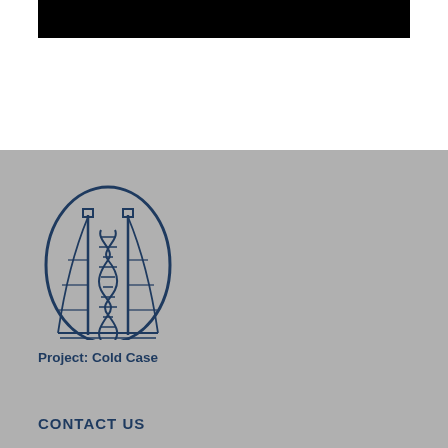[Figure (illustration): Black redacted bar at top of page]
[Figure (logo): Project: Cold Case logo — an oval containing a suspension bridge merged with a DNA double helix strand, rendered in dark navy blue on gray background, with text 'Project: Cold Case' below]
CONTACT US